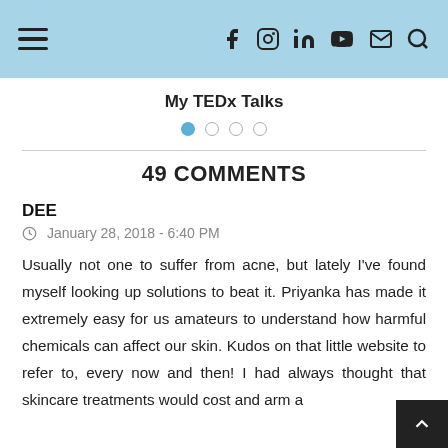Navigation header with hamburger menu and social icons (Facebook, Instagram, LinkedIn, YouTube, Mail, Search)
My TEDx Talks
Carousel dots: 4 dots, first active
49 COMMENTS
DEE
January 28, 2018 - 6:40 PM
Usually not one to suffer from acne, but lately I've found myself looking up solutions to beat it. Priyanka has made it extremely easy for us amateurs to understand how harmful chemicals can affect our skin. Kudos on that little website to refer to, every now and then! I had always thought that skincare treatments would cost and arm a